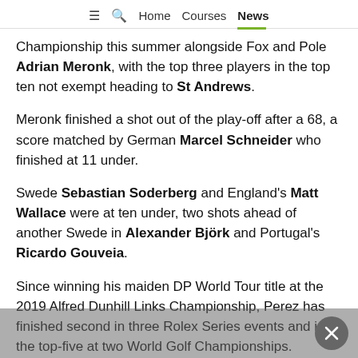☰ 🔍 Home  Courses  News
Championship this summer alongside Fox and Pole Adrian Meronk, with the top three players in the top ten not exempt heading to St Andrews.
Meronk finished a shot out of the play-off after a 68, a score matched by German Marcel Schneider who finished at 11 under.
Swede Sebastian Soderberg and England's Matt Wallace were at ten under, two shots ahead of another Swede in Alexander Björk and Portugal's Ricardo Gouveia.
Since winning his maiden DP World Tour title at the 2019 Alfred Dunhill Links Championship, Perez has finished second in three Rolex Series events and in the top-five at two World Golf Championships.
This second victory moves him to 24th on the DP World…